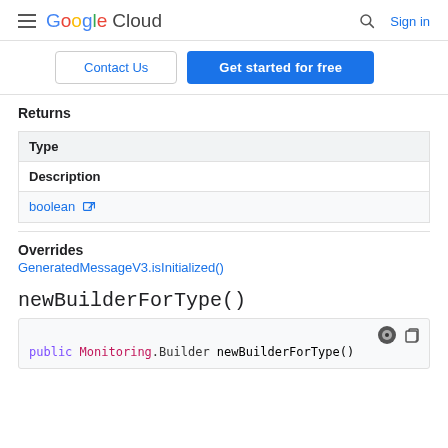Google Cloud | Sign in
Contact Us | Get started for free
Returns
| Type | Description |
| --- | --- |
| boolean [external link] |  |
Overrides
GeneratedMessageV3.isInitialized()
newBuilderForType()
public Monitoring.Builder newBuilderForType()